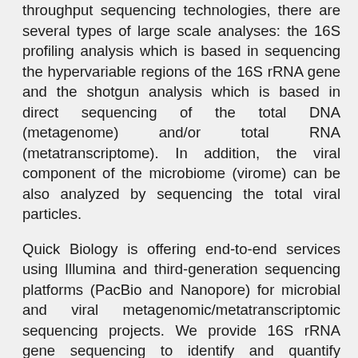throughput sequencing technologies, there are several types of large scale analyses: the 16S profiling analysis which is based in sequencing the hypervariable regions of the 16S rRNA gene and the shotgun analysis which is based in direct sequencing of the total DNA (metagenome) and/or total RNA (metatranscriptome). In addition, the viral component of the microbiome (virome) can be also analyzed by sequencing the total viral particles.
Quick Biology is offering end-to-end services using Illumina and third-generation sequencing platforms (PacBio and Nanopore) for microbial and viral metagenomic/metatranscriptomic sequencing projects. We provide 16S rRNA gene sequencing to identify and quantify bacterial taxa present within a microbiome; In the metagenomic sequencing analysis, the DNA sequences obtained can either be mapped to reference genomes/genes or used for de novo assembly of genomes. In viromics sequencing analysis, we sequence the virus genomes to analyze the active genes and species of the microbiome. We apply the